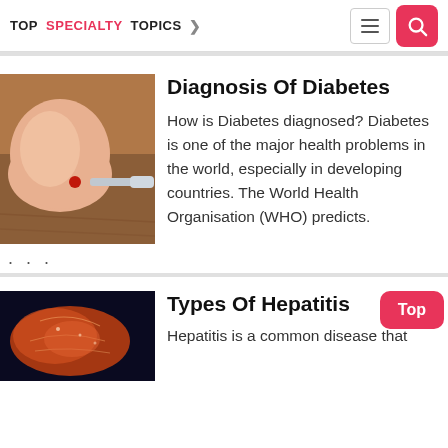TOP SPECIALTY TOPICS
Diagnosis Of Diabetes
[Figure (photo): Close-up photo of a finger with a blood drop being tested with a glucose meter on a wooden surface]
How is Diabetes diagnosed? Diabetes is one of the major health problems in the world, especially in developing countries. The World Health Organisation (WHO) predicts.
. . .
Types Of Hepatitis
[Figure (photo): Medical illustration of a liver organ with glowing structures against a dark background]
Hepatitis is a common disease that